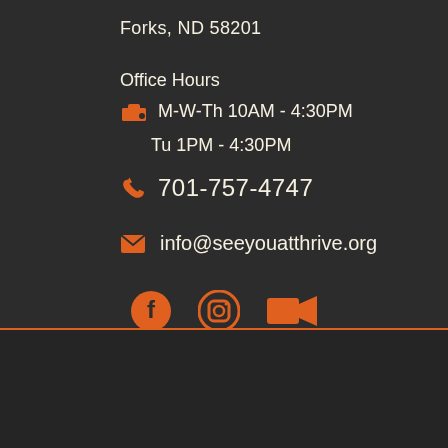Forks, ND 58201
Office Hours
M-W-Th 10AM - 4:30PM
Tu 1PM - 4:30PM
701-757-4747
info@seeyouatthrive.org
[Figure (illustration): Social media icons: Facebook, Instagram, Video (orange colored icons)]
Quick Links